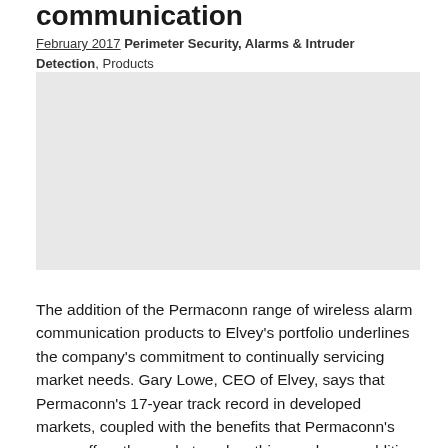communication
February 2017 Perimeter Security, Alarms & Intruder Detection, Products
[Figure (other): Advertisement placeholder (gray box)]
The addition of the Permaconn range of wireless alarm communication products to Elvey's portfolio underlines the company's commitment to continually servicing market needs. Gary Lowe, CEO of Elvey, says that Permaconn's 17-year track record in developed markets, coupled with the benefits that Permaconn's range offers the market, makes this a welcome addition to Elvey's suite brands and solutions.
Permaconn offers a clear set of differentiating factors from